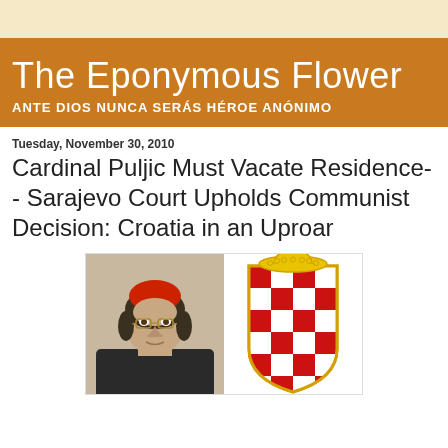The Eponymous Flower
ANTE DIOS NUNCA SERÁS HÉROE ANÓNIMO
Tuesday, November 30, 2010
Cardinal Puljic Must Vacate Residence-- Sarajevo Court Upholds Communist Decision: Croatia in an Uproar
[Figure (photo): Photo of Cardinal Puljic wearing red cardinal zucchetto, and a coat of arms showing red and white checkerboard pattern with a cardinal's hat on top in yellow/gold]